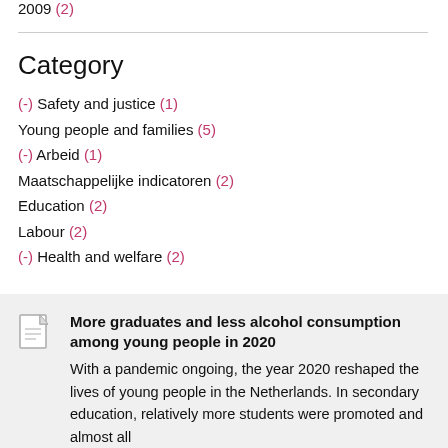2009 (2)
Category
(-) Safety and justice (1)
Young people and families (5)
(-) Arbeid (1)
Maatschappelijke indicatoren (2)
Education (2)
Labour (2)
(-) Health and welfare (2)
More graduates and less alcohol consumption among young people in 2020
With a pandemic ongoing, the year 2020 reshaped the lives of young people in the Netherlands. In secondary education, relatively more students were promoted and almost all